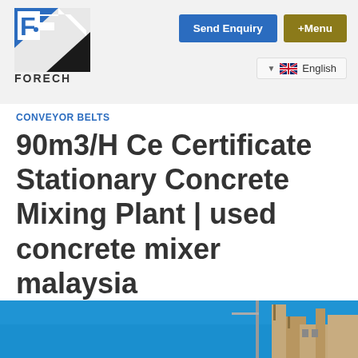[Figure (logo): FORECH company logo — blue and black geometric F/arrow mark with 'FORECH' text below]
Send Enquiry  +Menu  English
CONVEYOR BELTS
90m3/H Ce Certificate Stationary Concrete Mixing Plant | used concrete mixer malaysia
[Figure (photo): Bottom portion showing blue sky with industrial/concrete plant structure visible at bottom right]